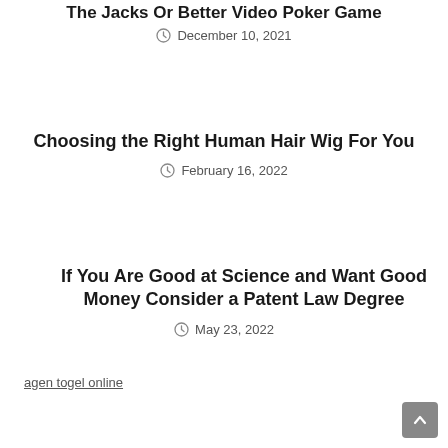The Jacks Or Better Video Poker Game
December 10, 2021
Choosing the Right Human Hair Wig For You
February 16, 2022
If You Are Good at Science and Want Good Money Consider a Patent Law Degree
May 23, 2022
agen togel online